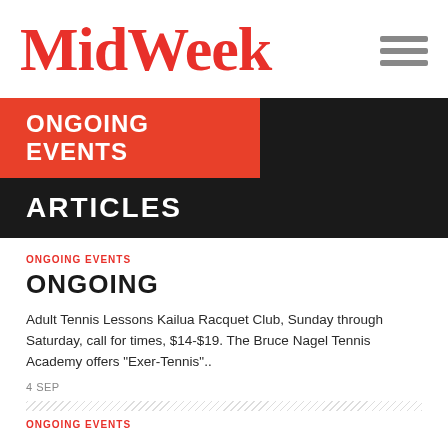MidWeek
ONGOING EVENTS
ARTICLES
ONGOING EVENTS
ONGOING
Adult Tennis Lessons Kailua Racquet Club, Sunday through Saturday, call for times, $14-$19. The Bruce Nagel Tennis Academy offers "Exer-Tennis"..
4 SEP
ONGOING EVENTS